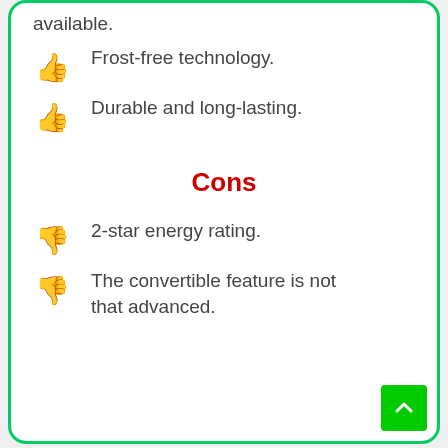available.
Frost-free technology.
Durable and long-lasting.
Cons
2-star energy rating.
The convertible feature is not that advanced.